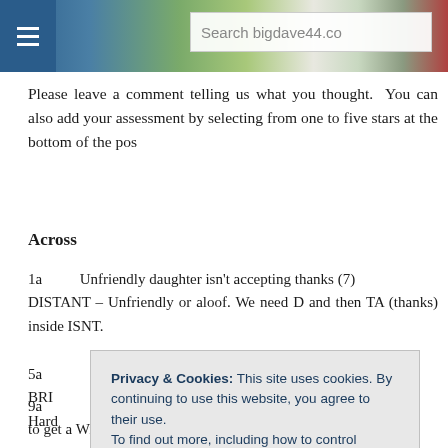[Figure (screenshot): Website header with hamburger menu icon, landscape photo banner, and search box reading 'Search bigdave44.co']
Please leave a comment telling us what you thought.  You can also add your assessment by selecting from one to five stars at the bottom of the pos
Across
1a         Unfriendly daughter isn't accepting thanks (7)
DISTANT – Unfriendly or aloof. We need D and then TA (thanks) inside ISNT.
5a         BRI…                                                              d for
Hard…
9a                                                                           (7)
CHA…                                                                      ce in
Wom…                                                                     urch
to get a Wine Goblet.
Privacy & Cookies: This site uses cookies. By continuing to use this website, you agree to their use.
To find out more, including how to control cookies, see here: Cookie Policy